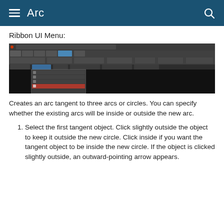Arc
Ribbon UI Menu:
[Figure (screenshot): Screenshot of a CAD software ribbon UI menu showing Arc tools, with a dropdown menu open highlighting 'Tangent to 3 Arcs' option. The main canvas area is black.]
Creates an arc tangent to three arcs or circles. You can specify whether the existing arcs will be inside or outside the new arc.
Select the first tangent object. Click slightly outside the object to keep it outside the new circle. Click inside if you want the tangent object to be inside the new circle. If the object is clicked slightly outside, an outward-pointing arrow appears.